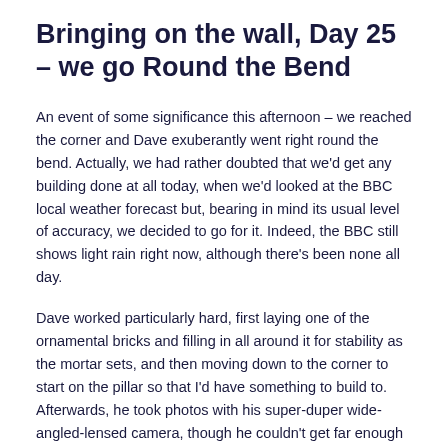Bringing on the wall, Day 25 – we go Round the Bend
An event of some significance this afternoon – we reached the corner and Dave exuberantly went right round the bend. Actually, we had rather doubted that we'd get any building done at all today, when we'd looked at the BBC local weather forecast but, bearing in mind its usual level of accuracy, we decided to go for it. Indeed, the BBC still shows light rain right now, although there's been none all day.
Dave worked particularly hard, first laying one of the ornamental bricks and filling in all around it for stability as the mortar sets, and then moving down to the corner to start on the pillar so that I'd have something to build to. Afterwards, he took photos with his super-duper wide-angled-lensed camera, though he couldn't get far enough away with nothing in between to get the whole length of the wall either. He'll put up his pictures at his place – I may pinch a couple of photos